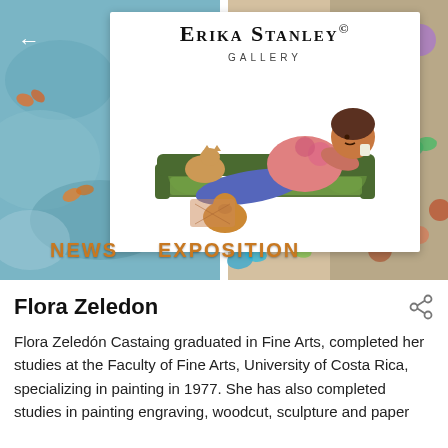[Figure (screenshot): Erika Stanley Gallery banner with artwork showing a woman reclining on a couch with a cat and a dog, set against a colorful butterfly and floral background. Navigation items NEWS and EXPOSITION appear at the bottom of the banner.]
Flora Zeledon
Flora Zeledón Castaing graduated in Fine Arts, completed her studies at the Faculty of Fine Arts, University of Costa Rica, specializing in painting in 1977. She has also completed studies in painting engraving, woodcut, sculpture and paper